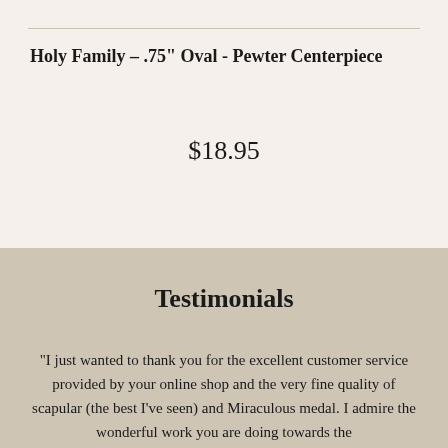Holy Family – .75" Oval - Pewter Centerpiece
$18.95
Testimonials
"I just wanted to thank you for the excellent customer service provided by your online shop and the very fine quality of scapular (the best I've seen) and Miraculous medal. I admire the wonderful work you are doing towards the